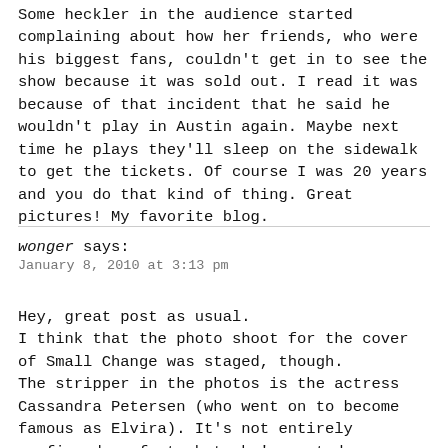Some heckler in the audience started complaining about how her friends, who were his biggest fans, couldn't get in to see the show because it was sold out. I read it was because of that incident that he said he wouldn't play in Austin again. Maybe next time he plays they'll sleep on the sidewalk to get the tickets. Of course I was 20 years and you do that kind of thing. Great pictures! My favorite blog.
wonger says:
January 8, 2010 at 3:13 pm
Hey, great post as usual.
I think that the photo shoot for the cover of Small Change was staged, though.
The stripper in the photos is the actress Cassandra Petersen (who went on to become famous as Elvira). It's not entirely confirmed as fact, but she's quoted as saying